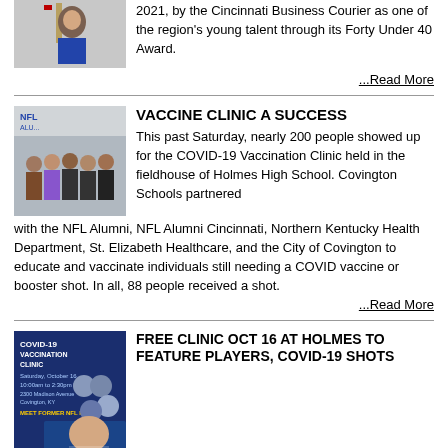2021, by the Cincinnati Business Courier as one of the region's young talent through its Forty Under 40 Award.
...Read More
VACCINE CLINIC A SUCCESS
[Figure (photo): Group photo at vaccine clinic with NFL Alumni sign visible]
This past Saturday, nearly 200 people showed up for the COVID-19 Vaccination Clinic held in the fieldhouse of Holmes High School. Covington Schools partnered with the NFL Alumni, NFL Alumni Cincinnati, Northern Kentucky Health Department, St. Elizabeth Healthcare, and the City of Covington to educate and vaccinate individuals still needing a COVID vaccine or booster shot. In all, 88 people received a shot.
...Read More
FREE CLINIC OCT 16 AT HOLMES TO FEATURE PLAYERS, COVID-19 SHOTS
[Figure (photo): COVID-19 Vaccination Clinic flyer with Cincinnati Bengal players]
Several Cincinnati Bengal legends will join forces with local health officials on Oct. 16 in Covington to encourage Northern Kentuckians to protect themselves and those around them from COVID-19.